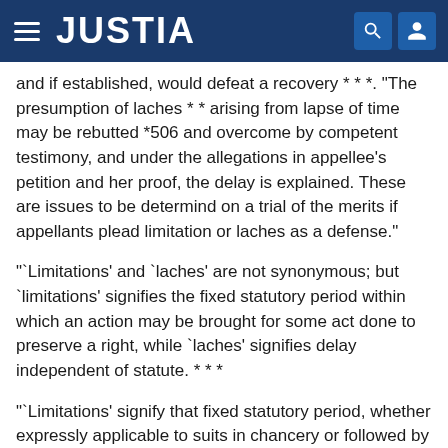JUSTIA
and if established, would defeat a recovery * * *. "The presumption of laches * * arising from lapse of time may be rebutted *506 and overcome by competent testimony, and under the allegations in appellee's petition and her proof, the delay is explained. These are issues to be determind on a trial of the merits if appellants plead limitation or laches as a defense."
"`Limitations' and `laches' are not synonymous; but `limitations' signifies the fixed statutory period within which an action may be brought for some act done to preserve a right, while `laches' signifies delay independent of statute. * * *
"`Limitations' signify that fixed statutory period, whether expressly applicable to suits in chancery or followed by analogy, while `laches' signifies